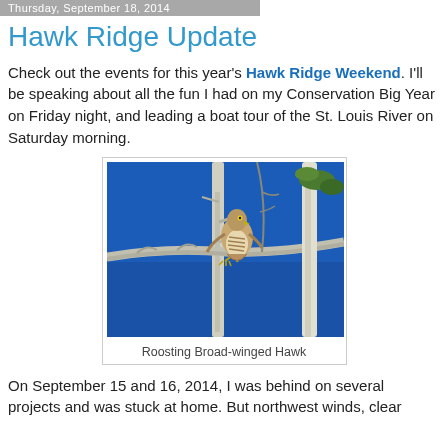Thursday, September 18, 2014
Hawk Ridge Update
Check out the events for this year's Hawk Ridge Weekend. I'll be speaking about all the fun I had on my Conservation Big Year on Friday night, and leading a boat tour of the St. Louis River on Saturday morning.
[Figure (photo): A Broad-winged Hawk roosting on a bare tree branch against a bright blue sky, with birch trees and green leaves visible in the background.]
Roosting Broad-winged Hawk
On September 15 and 16, 2014, I was behind on several projects and was stuck at home. But northwest winds, clear